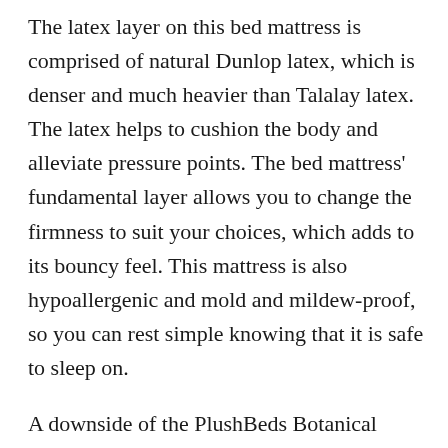The latex layer on this bed mattress is comprised of natural Dunlop latex, which is denser and much heavier than Talalay latex. The latex helps to cushion the body and alleviate pressure points. The bed mattress' fundamental layer allows you to change the firmness to suit your choices, which adds to its bouncy feel. This mattress is also hypoallergenic and mold and mildew-proof, so you can rest simple knowing that it is safe to sleep on.
A downside of the PlushBeds Botanical Blizs bed mattress is its weight. A 12-inch queen